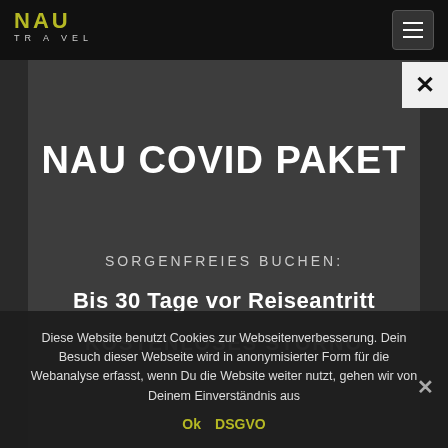[Figure (logo): NAU Travel logo in yellow/olive color on dark background]
NAU COVID PAKET
SORGENFREIES BUCHEN:
Bis 30 Tage vor Reiseantritt
KOSTENLOSES STORNO
Diese Website benutzt Cookies zur Webseitenverbesserung. Dein Besuch dieser Webseite wird in anonymisierter Form für die Webanalyse erfasst, wenn Du die Website weiter nutzt, gehen wir von Deinem Einverständnis aus
Ok  DSGVO